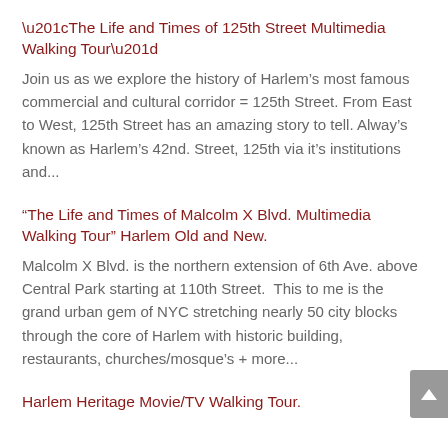“The Life and Times of 125th Street Multimedia Walking Tour”
Join us as we explore the history of Harlem’s most famous commercial and cultural corridor = 125th Street. From East to West, 125th Street has an amazing story to tell. Alway’s known as Harlem’s 42nd. Street, 125th via it’s institutions and...
“The Life and Times of Malcolm X Blvd. Multimedia Walking Tour” Harlem Old and New.
Malcolm X Blvd. is the northern extension of 6th Ave. above Central Park starting at 110th Street.  This to me is the grand urban gem of NYC stretching nearly 50 city blocks through the core of Harlem with historic building, restaurants, churches/mosque’s + more...
Harlem Heritage Movie/TV Walking Tour.